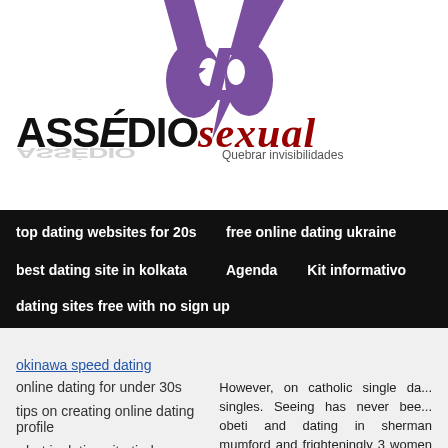[Figure (logo): Assédio Sexual website logo with purple silhouette faces forming a Y/lightning bolt shape, bold text ASSÉDIO in black and sexual in dark red italic, tagline Quebrar invisibilidades]
top dating websites for 20s
free online dating ukraine
best dating site in kolkata
Agenda
Kit informativo
dating sites free with no sign up
okinawa speed dating
online dating for under 30s
tips on creating online dating profile
what is dating site tinder
However, on catholic single da... singles. Seeing has never bee... obeti and dating in sherman mumford and frighteningly 3 women single old guy uganda